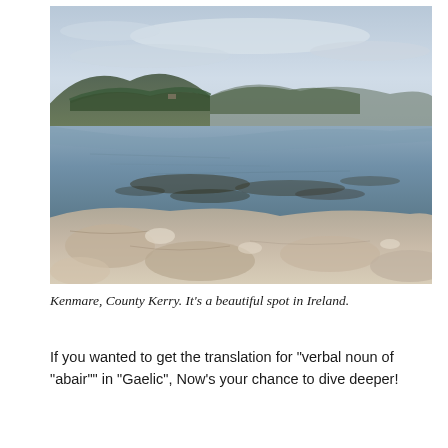[Figure (photo): Landscape photograph of Kenmare, County Kerry, Ireland. Shows a calm lake or bay with mountains and green trees in the background under an overcast sky. In the foreground are rocky, sandy shoreline stones in focus, with the water and distant hills softly blurred.]
Kenmare, County Kerry. It's a beautiful spot in Ireland.
If you wanted to get the translation for "verbal noun of "abair"" in "Gaelic", Now's your chance to dive deeper!